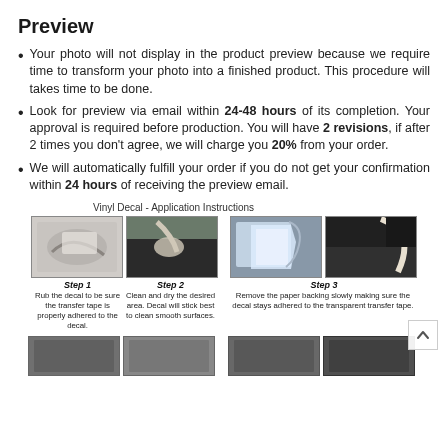Preview
Your photo will not display in the product preview because we require time to transform your photo into a finished product. This procedure will takes time to be done.
Look for preview via email within 24-48 hours of its completion. Your approval is required before production. You will have 2 revisions, if after 2 times you don't agree, we will charge you 20% from your order.
We will automatically fulfill your order if you do not get your confirmation within 24 hours of receiving the preview email.
Vinyl Decal - Application Instructions
[Figure (photo): Step 1 - Two photos showing rubbing the decal. Caption: Rub the decal to be sure the transfer tape is properly adhered to the decal.]
[Figure (photo): Step 2 - Two photos showing cleaning the area. Caption: Clean and dry the desired area. Decal will stick best to clean smooth surfaces.]
[Figure (photo): Step 3 - Two photos showing removing the paper backing. Caption: Remove the paper backing slowly making sure the decal stays adhered to the transparent transfer tape.]
[Figure (photo): Bottom row of step photos (continuation of instructions)]